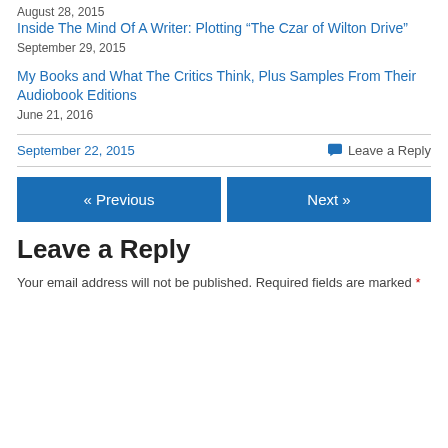August 28, 2015
Inside The Mind Of A Writer: Plotting “The Czar of Wilton Drive”
September 29, 2015
My Books and What The Critics Think, Plus Samples From Their Audiobook Editions
June 21, 2016
September 22, 2015
Leave a Reply
« Previous
Next »
Leave a Reply
Your email address will not be published. Required fields are marked *